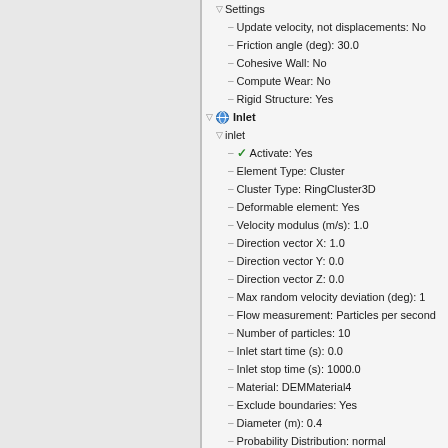[Figure (screenshot): Software configuration tree panel showing DEM simulation settings including Settings, Inlet, General options, Solution strategy, and Results nodes with property values]
Settings
Update velocity, not displacements: No
Friction angle (deg): 30.0
Cohesive Wall: No
Compute Wear: No
Rigid Structure: Yes
Inlet
inlet
Activate: Yes
Element Type: Cluster
Cluster Type: RingCluster3D
Deformable element: Yes
Velocity modulus (m/s): 1.0
Direction vector X: 1.0
Direction vector Y: 0.0
Direction vector Z: 0.0
Max random velocity deviation (deg): 1
Flow measurement: Particles per second
Number of particles: 10
Inlet start time (s): 0.0
Inlet stop time (s): 1000.0
Material: DEMMaterial4
Exclude boundaries: Yes
Diameter (m): 0.4
Probability Distribution: normal
Standard Deviation: 0.05
Random Orientation: Yes
Impose Motion: No
Prescribe motion on Spheres
Initial conditions on Elements
General options
Solution strategy
Results